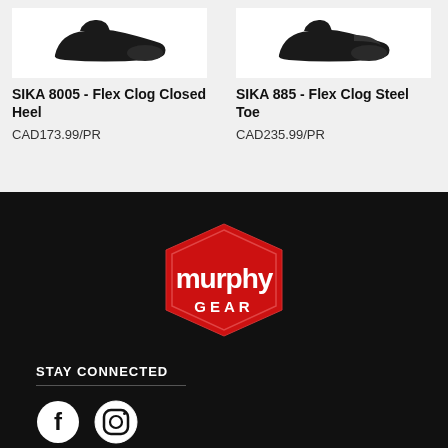[Figure (photo): Black shoe image - SIKA 8005 Flex Clog Closed Heel product photo]
SIKA 8005 - Flex Clog Closed Heel
CAD173.99/PR
[Figure (photo): Black shoe image - SIKA 885 Flex Clog Steel Toe product photo]
SIKA 885 - Flex Clog Steel Toe
CAD235.99/PR
[Figure (logo): Murphy Gear logo - red hexagon shape with white text 'murphy GEAR']
STAY CONNECTED
[Figure (other): Facebook and Instagram social media icons]